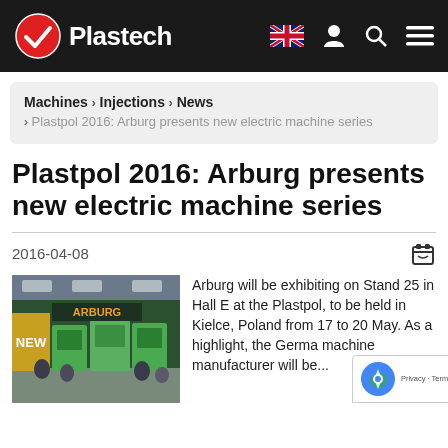Plastech
Machines › Injections › News › Plastpol 2016: Arburg presents new electric machine series
Plastpol 2016: Arburg presents new electric machine series
2016-04-08
[Figure (photo): Arburg exhibition stand with green injection moulding machines and visitors]
Arburg will be exhibiting on Stand 25 in Hall E at the Plastpol, to be held in Kielce, Poland from 17 to 20 May. As a highlight, the German machine manufacturer will be...